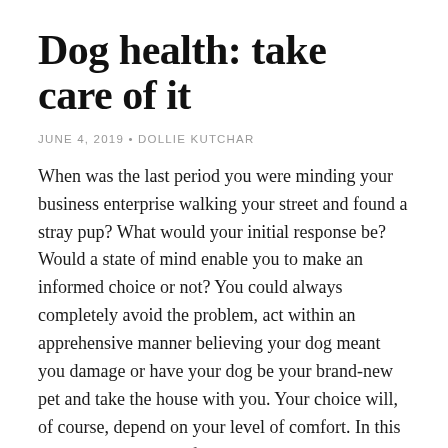Dog health: take care of it
JUNE 4, 2019 • DOLLIE KUTCHAR
When was the last period you were minding your business enterprise walking your street and found a stray pup? What would your initial response be? Would a state of mind enable you to make an informed choice or not? You could always completely avoid the problem, act within an apprehensive manner believing your dog meant you damage or have your dog be your brand-new pet and take the house with you. Your choice will, of course, depend on your level of comfort. In this example, you have a few decent choices. The decision you go with will seriously depend on if you proclaim you to be a pet lover ultimately or not. The assumption because this article will be you are an animal lover and will take care while